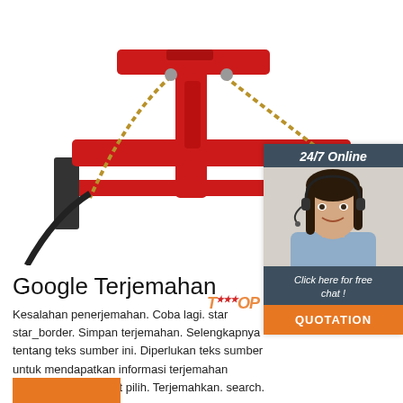[Figure (photo): Red hydraulic equipment/tool with chain, on white background. Top portion of the page.]
[Figure (photo): Sidebar widget with dark header '24/7 Online', photo of a smiling woman with headset (customer service agent), dark footer text 'Click here for free chat !' and orange button 'QUOTATION']
Google Terjemahan
Kesalahan penerjemahan. Coba lagi. star star_border. Simpan terjemahan. Selengkapnya tentang teks sumber ini. Diperlukan teks sumber untuk mendapatkan informasi terjemahan tambahan. Tutup alat pilih. Terjemahkan. search.